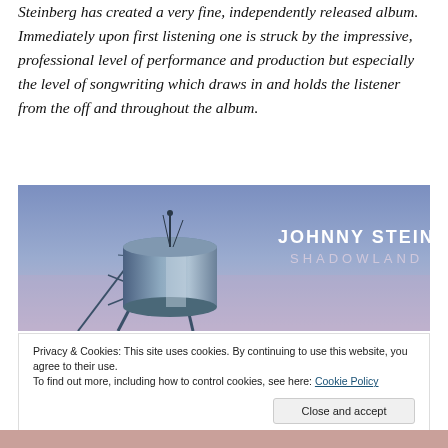Steinberg has created a very fine, independently released album. Immediately upon first listening one is struck by the impressive, professional level of performance and production but especially the level of songwriting which draws in and holds the listener from the off and throughout the album.
[Figure (photo): Album cover for Johnny Steinberg – Shadowland. Shows a water tower against a purple-blue sky. Text reads 'JOHNNY STEINBERG' and 'SHADOWLAND' in white.]
Privacy & Cookies: This site uses cookies. By continuing to use this website, you agree to their use.
To find out more, including how to control cookies, see here: Cookie Policy